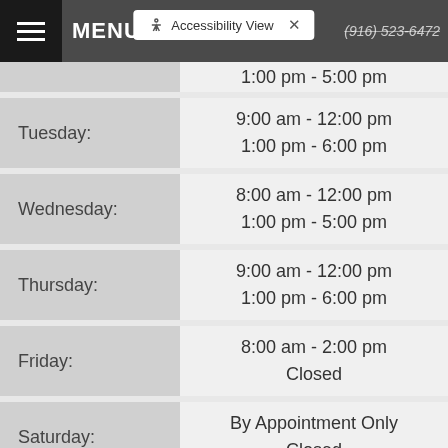MENU | Accessibility View | (916) 523-6472
| Day | Hours |
| --- | --- |
|  | 1:00 pm - 5:00 pm |
| Tuesday: | 9:00 am - 12:00 pm
1:00 pm - 6:00 pm |
| Wednesday: | 8:00 am - 12:00 pm
1:00 pm - 5:00 pm |
| Thursday: | 9:00 am - 12:00 pm
1:00 pm - 6:00 pm |
| Friday: | 8:00 am - 2:00 pm
Closed |
| Saturday: | By Appointment Only
Closed |
| Sunday: | Closed
Closed |